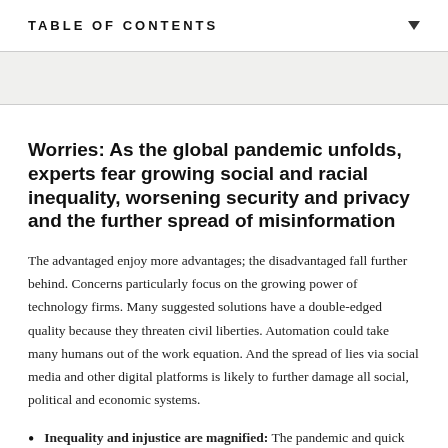TABLE OF CONTENTS
Worries: As the global pandemic unfolds, experts fear growing social and racial inequality, worsening security and privacy and the further spread of misinformation
The advantaged enjoy more advantages; the disadvantaged fall further behind. Concerns particularly focus on the growing power of technology firms. Many suggested solutions have a double-edged quality because they threaten civil liberties. Automation could take many humans out of the work equation. And the spread of lies via social media and other digital platforms is likely to further damage all social, political and economic systems.
Inequality and injustice are magnified: The pandemic and quick pivot to the use of digitally driven systems will